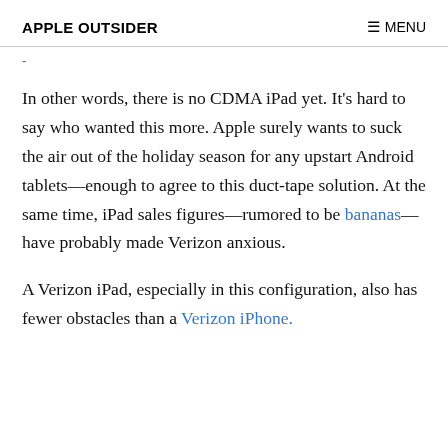APPLE OUTSIDER | MENU
In other words, there is no CDMA iPad yet. It's hard to say who wanted this more. Apple surely wants to suck the air out of the holiday season for any upstart Android tablets—enough to agree to this duct-tape solution. At the same time, iPad sales figures—rumored to be bananas—have probably made Verizon anxious.
A Verizon iPad, especially in this configuration, also has fewer obstacles than a Verizon iPhone.